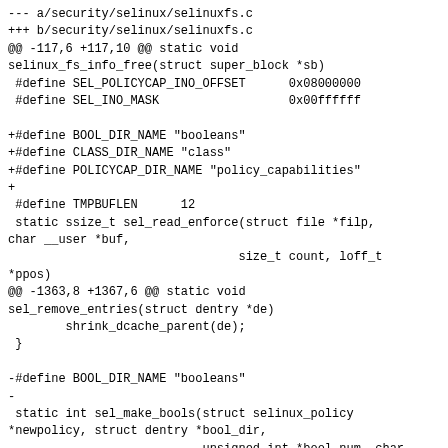--- a/security/selinux/selinuxfs.c
+++ b/security/selinux/selinuxfs.c
@@ -117,6 +117,10 @@ static void
selinux_fs_info_free(struct super_block *sb)
 #define SEL_POLICYCAP_INO_OFFSET      0x08000000
 #define SEL_INO_MASK                  0x00ffffff

+#define BOOL_DIR_NAME "booleans"
+#define CLASS_DIR_NAME "class"
+#define POLICYCAP_DIR_NAME "policy_capabilities"
+
 #define TMPBUFLEN      12
 static ssize_t sel_read_enforce(struct file *filp, char __user *buf,
                                size_t count, loff_t
*ppos)
@@ -1363,8 +1367,6 @@ static void
sel_remove_entries(struct dentry *de)
        shrink_dcache_parent(de);
 }

-#define BOOL_DIR_NAME "booleans"
-
 static int sel_make_bools(struct selinux_policy
*newpolicy, struct dentry *bool_dir,
                           unsigned int *bool_num, char
***bool_pending_names,
                           unsigned int
**bool_pending_values)
@@ -2080,14 +2082,14 @@ static int